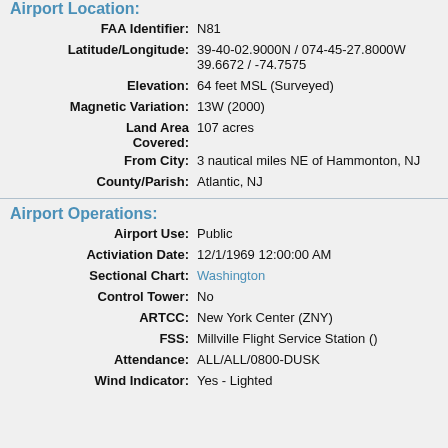Airport Location:
| Field | Value |
| --- | --- |
| FAA Identifier: | N81 |
| Latitude/Longitude: | 39-40-02.9000N / 074-45-27.8000W
39.6672 / -74.7575 |
| Elevation: | 64 feet MSL (Surveyed) |
| Magnetic Variation: | 13W (2000) |
| Land Area Covered: | 107 acres |
| From City: | 3 nautical miles NE of Hammonton, NJ |
| County/Parish: | Atlantic, NJ |
Airport Operations:
| Field | Value |
| --- | --- |
| Airport Use: | Public |
| Activiation Date: | 12/1/1969 12:00:00 AM |
| Sectional Chart: | Washington |
| Control Tower: | No |
| ARTCC: | New York Center (ZNY) |
| FSS: | Millville Flight Service Station () |
| Attendance: | ALL/ALL/0800-DUSK |
| Wind Indicator: | Yes - Lighted |